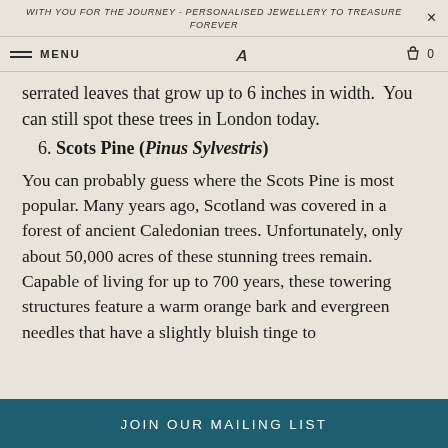WITH YOU FOR THE JOURNEY - PERSONALISED JEWELLERY TO TREASURE FOREVER
MENU
serrated leaves that grow up to 6 inches in width.  You can still spot these trees in London today.
6. Scots Pine (Pinus Sylvestris)
You can probably guess where the Scots Pine is most popular. Many years ago, Scotland was covered in a forest of ancient Caledonian trees. Unfortunately, only about 50,000 acres of these stunning trees remain. Capable of living for up to 700 years, these towering structures feature a warm orange bark and evergreen needles that have a slightly bluish tinge to
JOIN OUR MAILING LIST